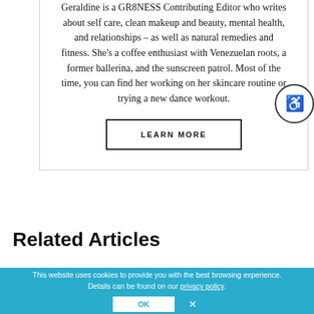Geraldine is a GR8NESS Contributing Editor who writes about self care, clean makeup and beauty, mental health, and relationships – as well as natural remedies and fitness. She's a coffee enthusiast with Venezuelan roots, a former ballerina, and the sunscreen patrol. Most of the time, you can find her working on her skincare routine or trying a new dance workout.
LEARN MORE
Related Articles
This website uses cookies to provide you with the best browsing experience. Details can be found on our privacy policy.
OK